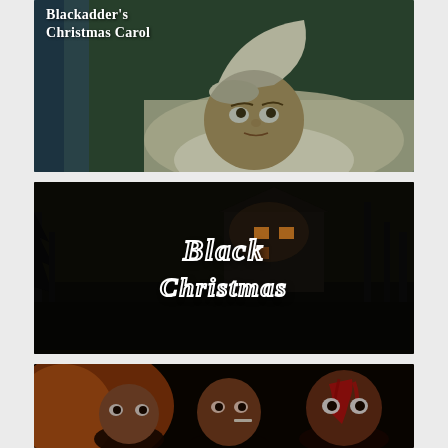[Figure (photo): Movie poster/screenshot for 'Blackadder's Christmas Carol' showing a man lying in bed wearing a white nightcap, with the title text overlaid on a dark greenish background]
[Figure (photo): Movie title card for 'Black Christmas' showing gothic-style white text against a dark background with a silhouette of a house]
[Figure (photo): Partial movie screenshot showing three men, at least one with blood on his face, suggesting a horror film]